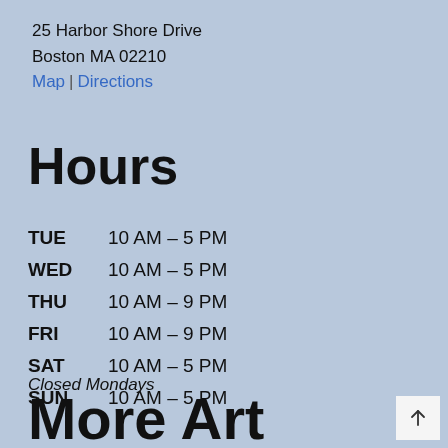25 Harbor Shore Drive
Boston MA 02210
Map | Directions
Hours
TUE  10 AM – 5 PM
WED  10 AM – 5 PM
THU  10 AM – 9 PM
FRI  10 AM – 9 PM
SAT  10 AM – 5 PM
SUN  10 AM – 5 PM
Closed Mondays
More Art